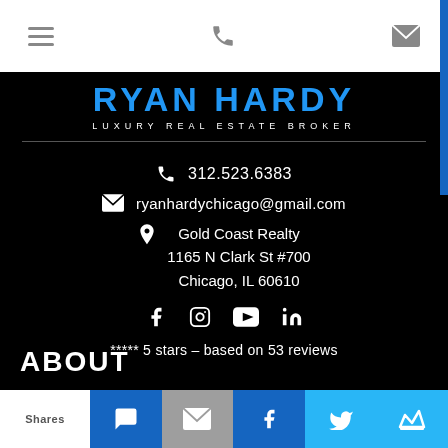Ryan Hardy - Luxury Real Estate Broker
312.523.6383
ryanhardychicago@gmail.com
Gold Coast Realty
1165 N Clark St #700
Chicago, IL 60610
***** 5 stars – based on 53 reviews
ABOUT
Shares